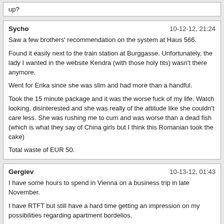up?
Sycho	10-12-12, 21:24
Saw a few brothers' recommendation on the system at Haus 566.

Found it easily next to the train station at Burggasse. Unfortunately, the lady I wanted in the website Kendra (with those holy tits) wasn't there anymore.

Went for Erika since she was slim and had more than a handful.

Took the 15 minute package and it was the worse fuck of my life. Watch looking, disinterested and she was really of the attitude like she couldn't care less. She was rushing me to cum and was worse than a dead fish (which is what they say of China girls but I think this Romanian took the cake)

Total waste of EUR 50.
Gergiev	10-13-12, 01:43
I have some hours to spend in Vienna on a business trip in late November.

I have RTFT but still have a hard time getting an impression on my possibilities regarding apartment bordellos.

I know the Berlin scene quite well but are there any places (like Royal, Liberty, Kamilla La Dee) where I can go without an appointment and get a decent line up?I'm not often in Vienna like I used to be, but, going by local reports, one place that seems to deliver consistent quality is Club Doreen.

Doreen herself is a glammed-up Russian lady and maybe not for everyone but she seems to employ a regular stable of attractive and reliable ladies...

http://www.club-doreen.at/start